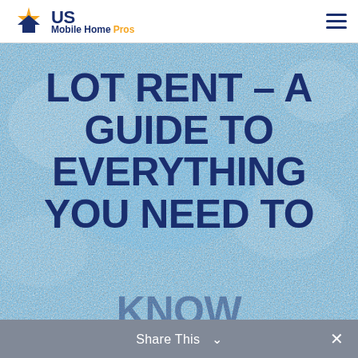US Mobile Home Pros
[Figure (illustration): Blue textured background hero image with large bold dark blue text reading LOT RENT – A GUIDE TO EVERYTHING YOU NEED TO KNOW]
LOT RENT – A GUIDE TO EVERYTHING YOU NEED TO KNOW
Share This ∨  ✕